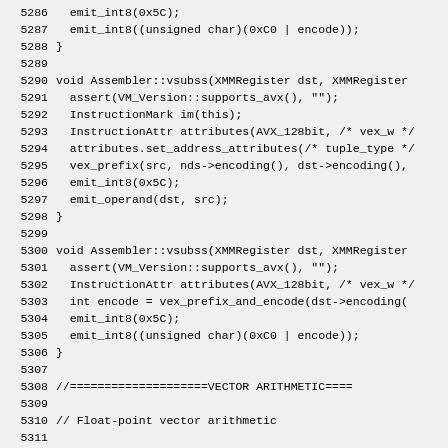Source code listing: assembler vsubss and addpd implementations, lines 5286-5316
5286    emit_int8(0x5C);
5287    emit_int8((unsigned char)(0xC0 | encode));
5288 }
5289
5290 void Assembler::vsubss(XMMRegister dst, XMMRegister
5291    assert(VM_Version::supports_avx(), "");
5292    InstructionMark im(this);
5293    InstructionAttr attributes(AVX_128bit, /* vex_w */
5294    attributes.set_address_attributes(/* tuple_type */
5295    vex_prefix(src, nds->encoding(), dst->encoding(),
5296    emit_int8(0x5C);
5297    emit_operand(dst, src);
5298 }
5299
5300 void Assembler::vsubss(XMMRegister dst, XMMRegister
5301    assert(VM_Version::supports_avx(), "");
5302    InstructionAttr attributes(AVX_128bit, /* vex_w */
5303    int encode = vex_prefix_and_encode(dst->encoding(
5304    emit_int8(0x5C);
5305    emit_int8((unsigned char)(0xC0 | encode));
5306 }
5307
5308 //====================VECTOR ARITHMETIC====
5309
5310 // Float-point vector arithmetic
5311
5312 void Assembler::addpd(XMMRegister dst, XMMRegister s
5313    NOT_LP64(assert(VM_Version::supports_sse2(), ""))
5314    InstructionAttr attributes(AVX_128bit, /* rex_w */
5315    attributes.set_rex_vex_w_reverted();
5316    int encode = simd_prefix_and_encode(dst, dst, src